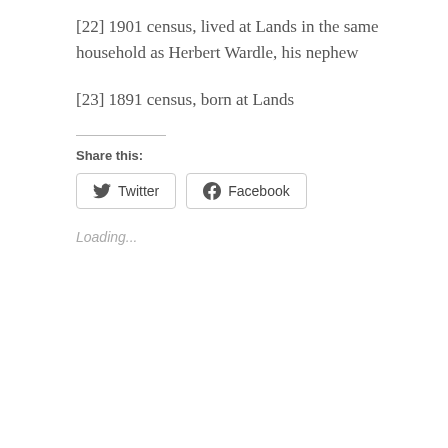[22] 1901 census, lived at Lands in the same household as Herbert Wardle, his nephew
[23] 1891 census, born at Lands
Share this:
Twitter  Facebook
Loading...